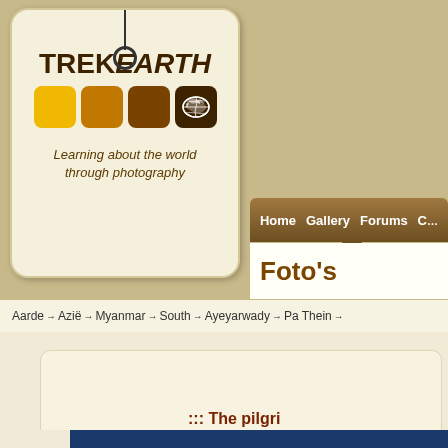[Figure (logo): TrekEarth logo tag with cord, colored squares, and tagline 'Learning about the world through photography']
Home  Gallery  Forums  C...
Foto's
Aarde → Azië → Myanmar → South → Ayeyarwady → Pa Thein →
[Figure (other): Blank inner panel / content area]
::: The pilgri...
[Figure (other): Navigation back arrow button and blue bar at bottom]